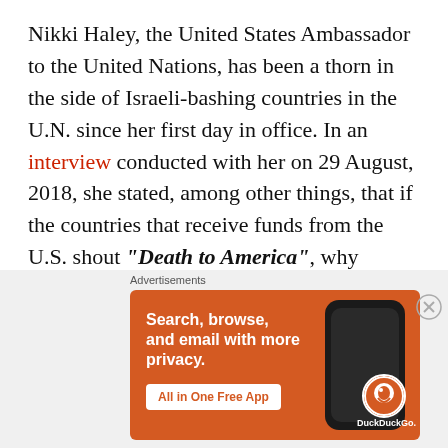Nikki Haley, the United States Ambassador to the United Nations, has been a thorn in the side of Israeli-bashing countries in the U.N. since her first day in office. In an interview conducted with her on 29 August, 2018, she stated, among other things, that if the countries that receive funds from the U.S. shout “Death to America”, why should the U.S. give them a single penny? She added: “When you look at UNRWA, there’s a couple of issues there. First of all, you’re looking at the fact that … there’s an endless
[Figure (other): DuckDuckGo advertisement banner with orange background showing 'Search, browse, and email with more privacy. All in One Free App' with a phone image and DuckDuckGo logo]